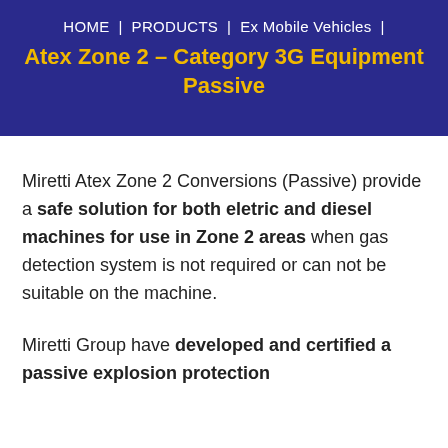HOME | PRODUCTS | Ex Mobile Vehicles |
Atex Zone 2 – Category 3G Equipment Passive
Miretti Atex Zone 2 Conversions (Passive) provide a safe solution for both eletric and diesel machines for use in Zone 2 areas when gas detection system is not required or can not be suitable on the machine.
Miretti Group have developed and certified a passive explosion protection